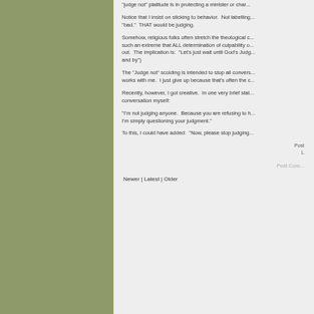"judge not" platitude is in protecting a minister or char...
Notice that I insist on sticking to behavior. Not labelling... "bad." THAT would be judging.
Somehow, religious folks often stretch the theological c... such an extreme that ALL determination of culpability o... out. The implication is: "Let's just wait until God's Judg... and by")
The "Judge not" scolding is intended to stop all convers... works with me. I just give up because that's often the c...
Recently, however, I got creative. In one very brief stat... conversation myself:
"I'm not judging anyone. Because you are refusing to h... I'm simply questioning your judgment."
To this, I could have added: "Now, please stop judging...
Post
L
Post Com...
Newer | Latest | Older